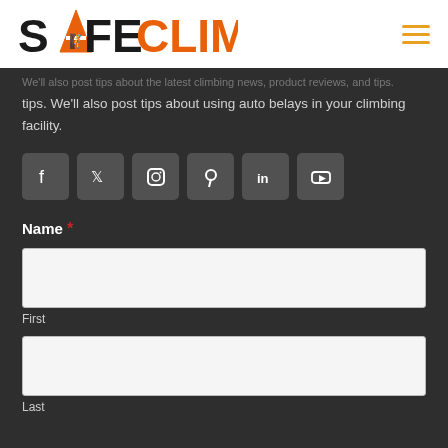SAFECLIMB
tips. We'll also post tips about using auto belays in your climbing facility.
[Figure (other): Social media icons: Facebook, Twitter, Instagram, Pinterest, LinkedIn, YouTube]
Name *
First
Last